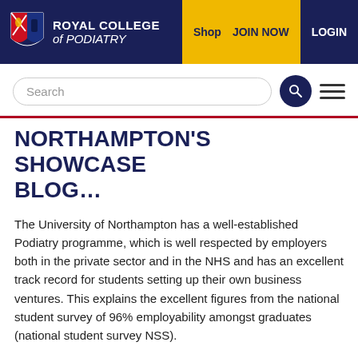ROYAL COLLEGE of PODIATRY | Shop | JOIN NOW | LOGIN
NORTHAMPTON'S SHOWCASE BLOG…
The University of Northampton has a well-established Podiatry programme, which is well respected by employers both in the private sector and in the NHS and has an excellent track record for students setting up their own business ventures. This explains the excellent figures from the national student survey of 96% employability amongst graduates (national student survey NSS).
We want to get the very best students and in return we